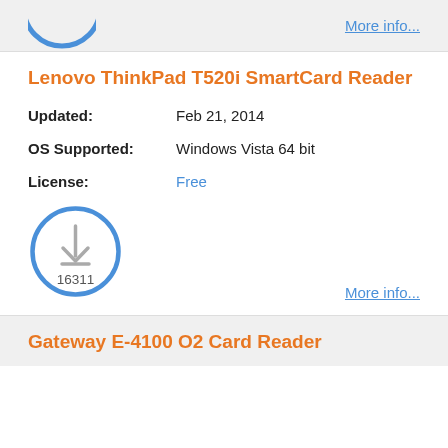[Figure (other): Partial blue circle download icon at top left, cropped]
More info...
Lenovo ThinkPad T520i SmartCard Reader
Updated: Feb 21, 2014
OS Supported: Windows Vista 64 bit
License: Free
[Figure (other): Blue circle with download arrow icon and download count 16311]
More info...
Gateway E-4100 O2 Card Reader